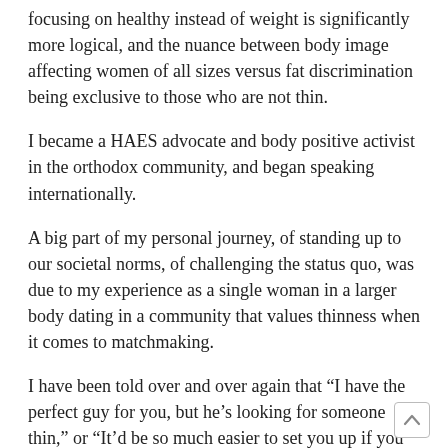focusing on healthy instead of weight is significantly more logical, and the nuance between body image affecting women of all sizes versus fat discrimination being exclusive to those who are not thin.
I became a HAES advocate and body positive activist in the orthodox community, and began speaking internationally.
A big part of my personal journey, of standing up to our societal norms, of challenging the status quo, was due to my experience as a single woman in a larger body dating in a community that values thinness when it comes to matchmaking.
I have been told over and over again that “I have the perfect guy for you, but he’s looking for someone thin,” or “It’d be so much easier to set you up if you just lost twenty pounds,” or “You’re beautiful… but you’d be even more beautiful if you were thinner.”
And here’s the thing: He is not the perfect guy for me if